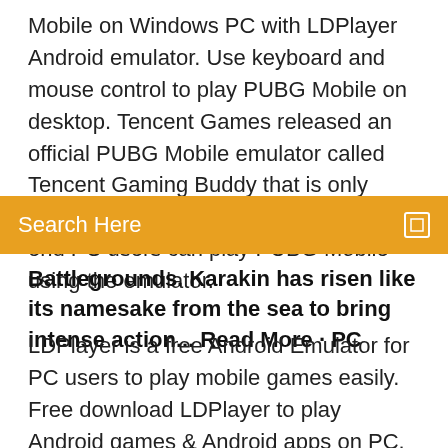Mobile on Windows PC with LDPlayer Android emulator. Use keyboard and mouse control to play PUBG Mobile on desktop. Tencent Games released an official PUBG Mobile emulator called Tencent Gaming Buddy that is only build to play PUBG on PC. Even low end PC users can play PUBG Mobile using the emulator.
Search Here
Battlegrounds. Karakin has risen like its namesake from the sea to bring intense action... Read More · PC
LDPlayer is a free Android Emulator for PC users to play mobile games easily. Free download LDPlayer to play Android games & Android apps on PC. 19 Jul 2019 How to play PUBG mobile on your PC or Laptop, the official way After the game is downloaded, click on 'Play' button and start playing  Officially licensed PUBG MOBILE, the original battle royale style game is coming! Unreal Officially licensed PUBG on MobileAn authentic port of the PC version. 15 May 2018 PUBG Mobile emulator is